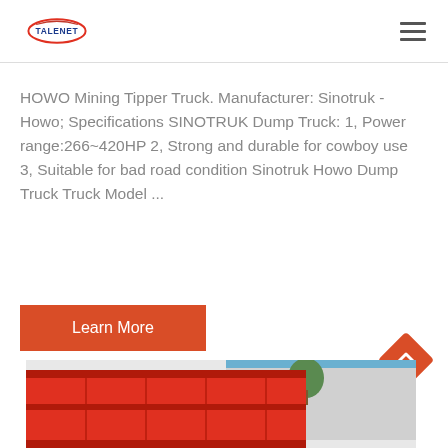TALENET
HOWO Mining Tipper Truck. Manufacturer: Sinotruk - Howo; Specifications SINOTRUK Dump Truck: 1, Power range:266~420HP 2, Strong and durable for cowboy use 3, Suitable for bad road condition Sinotruk Howo Dump Truck Truck Model ...
Learn More
[Figure (photo): Partial view of a red HOWO mining tipper truck with a building and tree visible in the background]